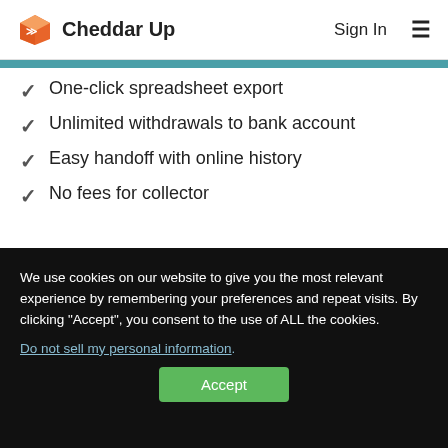Cheddar Up — Sign In
One-click spreadsheet export
Unlimited withdrawals to bank account
Easy handoff with online history
No fees for collector
We use cookies on our website to give you the most relevant experience by remembering your preferences and repeat visits. By clicking "Accept", you consent to the use of ALL the cookies. Do not sell my personal information. Accept